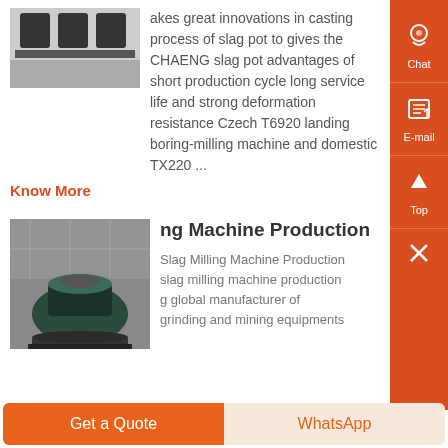[Figure (photo): Industrial machinery parts, dark metal components on white background]
akes great innovations in casting process of slag pot to gives the CHAENG slag pot advantages of short production cycle long service life and strong deformation resistance Czech T6920 landing boring-milling machine and domestic TX220 ...
Know More
[Figure (photo): Large industrial slag milling machine in factory setting]
ng Machine Production
Slag Milling Machine Production slag milling machine production g global manufacturer of grinding and mining equipments
Get a Quote
WhatsApp